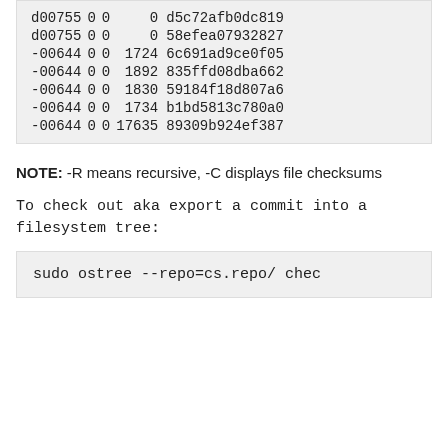| d00755 | 0 | 0 |  | 0 | d5c72afb0dc819 |
| d00755 | 0 | 0 |  | 0 | 58efea07932827 |
| -00644 | 0 | 0 |  | 1724 | 6c691ad9ce0f05 |
| -00644 | 0 | 0 |  | 1892 | 835ffd08dba662 |
| -00644 | 0 | 0 |  | 1830 | 59184f18d807a6 |
| -00644 | 0 | 0 |  | 1734 | b1bd5813c780a0 |
| -00644 | 0 | 0 |  | 17635 | 89309b924ef387 |
NOTE: -R means recursive, -C displays file checksums
To check out aka export a commit into a filesystem tree:
sudo ostree --repo=cs.repo/ chec